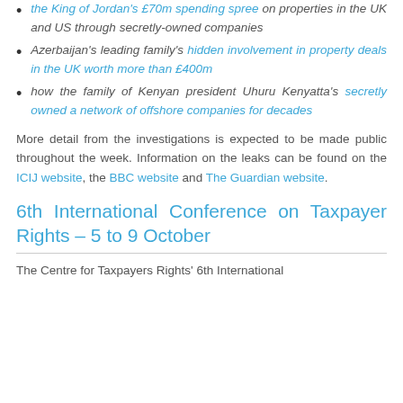the King of Jordan's £70m spending spree on properties in the UK and US through secretly-owned companies
Azerbaijan's leading family's hidden involvement in property deals in the UK worth more than £400m
how the family of Kenyan president Uhuru Kenyatta's secretly owned a network of offshore companies for decades
More detail from the investigations is expected to be made public throughout the week. Information on the leaks can be found on the ICIJ website, the BBC website and The Guardian website.
6th International Conference on Taxpayer Rights – 5 to 9 October
The Centre for Taxpayers Rights' 6th International